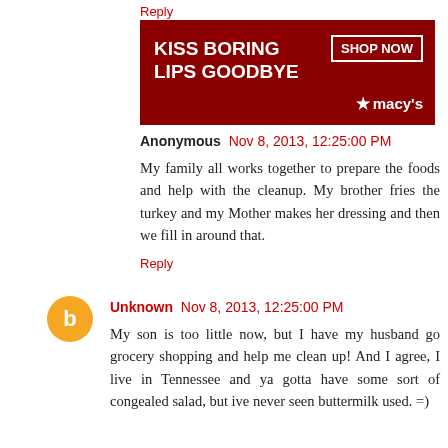Reply
[Figure (photo): Macy's advertisement banner: 'KISS BORING LIPS GOODBYE' with red lips image and 'SHOP NOW' button and Macy's star logo]
Anonymous  Nov 8, 2013, 12:25:00 PM
My family all works together to prepare the foods and help with the cleanup. My brother fries the turkey and my Mother makes her dressing and then we fill in around that.
Reply
Unknown  Nov 8, 2013, 12:25:00 PM
My son is too little now, but I have my husband go grocery shopping and help me clean up! And I agree, I live in Tennessee and ya gotta have some sort of congealed salad, but ive never seen buttermilk used. =)
Reply
Valerie  Nov 8, 2013, 12:26:00 PM
I keep everyone out of the kitchen and do it all myself. Of course,